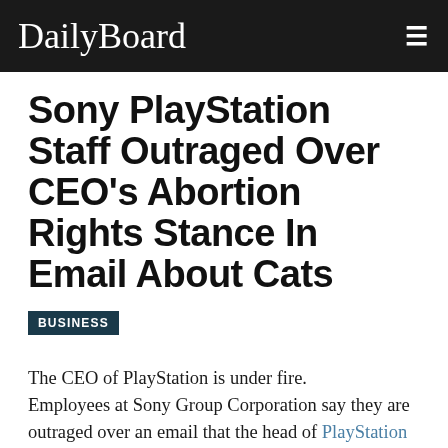DailyBoard
Sony PlayStation Staff Outraged Over CEO's Abortion Rights Stance In Email About Cats
BUSINESS
The CEO of PlayStation is under fire. Employees at Sony Group Corporation say they are outraged over an email that the head of PlayStation sent days after a leaked draft indicated that the Supreme Court is poised to overturn Roe v. Wade, Bloomberg first reported.